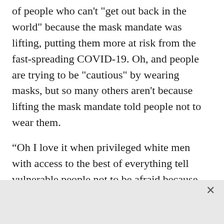of people who can't "get out back in the world" because the mask mandate was lifting, putting them more at risk from the fast-spreading COVID-19. Oh, and people are trying to be "cautious" by wearing masks, but so many others aren't because lifting the mask mandate told people not to wear them.
“Oh I love it when privileged white men with access to the best of everything tell vulnerable people not to be afraid because, hey! He’s alright,” @Margaret82 tweeted.
One thing that really stung for me is the use of the word “afraid.” In the past two years, members of the “freedom convoy” cult have messaged me hundreds of times complaining every time I write in support of